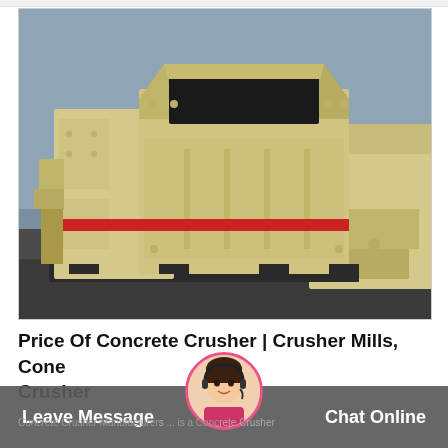[Figure (photo): Photo of a large industrial concrete crusher machine, painted cream/beige color with red accent stripe, photographed outdoors in an industrial yard. A second similar crusher unit is visible in the background.]
Price Of Concrete Crusher | Crusher Mills, Cone Crusher
Concrete Crusher Manufacturers ... is a Concrete Crusher